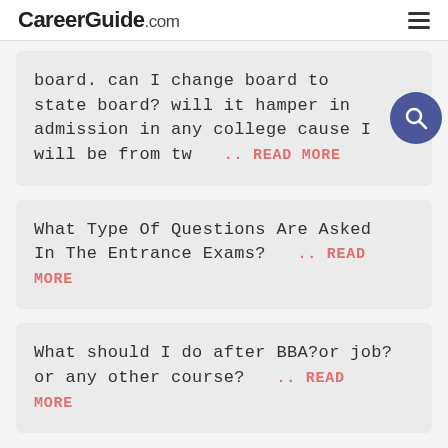CareerGuide.com
board. can I change board to state board? will it hamper in admission in any college cause I will be from tw .. READ MORE
What Type Of Questions Are Asked In The Entrance Exams? .. READ MORE
What should I do after BBA?or job? or any other course? .. READ MORE